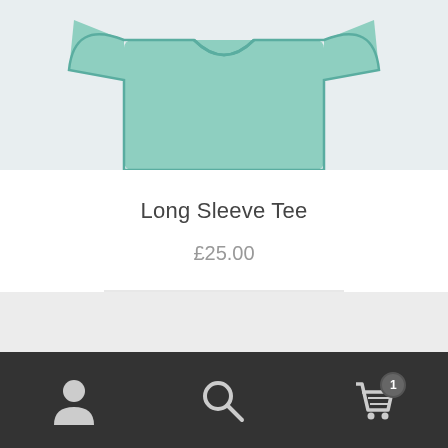[Figure (illustration): Cropped product image showing a long sleeve tee shirt illustration on a light blue-grey background]
Long Sleeve Tee
£25.00
Add to cart
[Figure (infographic): Bottom navigation bar with account/user icon, search icon, and shopping cart icon with badge showing 1 item]